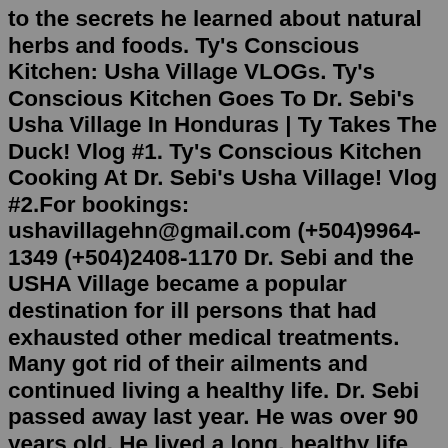to the secrets he learned about natural herbs and foods. Ty's Conscious Kitchen: Usha Village VLOGs. Ty's Conscious Kitchen Goes To Dr. Sebi's Usha Village In Honduras | Ty Takes The Duck! Vlog #1. Ty's Conscious Kitchen Cooking At Dr. Sebi's Usha Village! Vlog #2.For bookings: ushavillagehn@gmail.com (+504)9964-1349 (+504)2408-1170 Dr. Sebi and the USHA Village became a popular destination for ill persons that had exhausted other medical treatments. Many got rid of their ailments and continued living a healthy life. Dr. Sebi passed away last year. He was over 90 years old. He lived a long, healthy life thanks to the secrets he learned about natural herbs and foods.Dr. Sebi has tons of lectures on youtube that I've watched and he constantly makes trips from honduras to California to lecture and "enlighten" people to come to Usha village and order his cell food products on his sebicellfood website. parvovirus in dogsjail roster utahmotion for telephonic appearance immigration